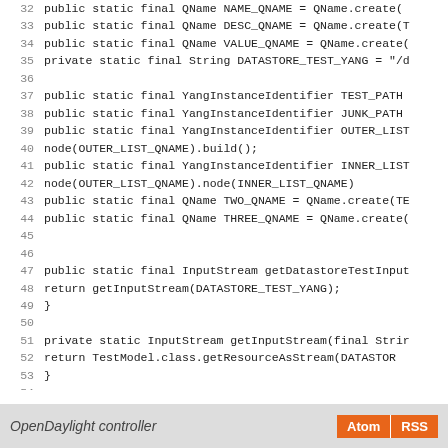[Figure (screenshot): Source code listing showing Java class fields and methods, lines 32-60, including QName declarations, YangInstanceIdentifier fields, InputStream methods, and createTestContext method.]
OpenDaylight controller  Atom  RSS